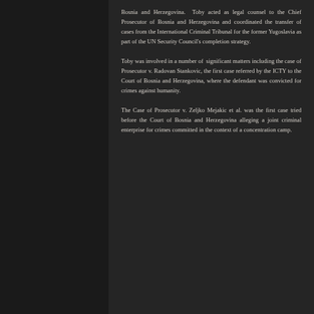Bosnia and Herzegovina. Toby acted as legal counsel to the Chief Prosecutor of Bosnia and Herzegovina and coordinated the transfer of cases from the International Criminal Tribunal for the former Yugoslavia as part of the UN Security Council's completion strategy.
Toby was involved in a number of significant matters including the case of Prosecutor v. Radovan Stankovic, the first case referred by the ICTY to the Court of Bosnia and Herzegovina, where the defendant was convicted for crimes against humanity.
The Case of Prosecutor v. Zeljko Mejakic et al. was the first case tried before the Court of Bosnia and Herzegovina alleging a joint criminal enterprise for crimes committed in the context of a concentration camp.